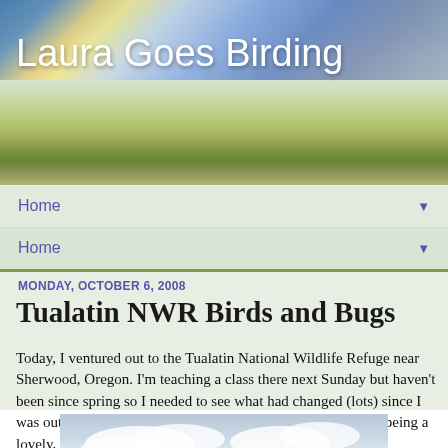Laura Goes Birding
Home
Home
MONDAY, OCTOBER 6, 2008
Tualatin NWR Birds and Bugs
Today, I ventured out to the Tualatin National Wildlife Refuge near Sherwood, Oregon. I'm teaching a class there next Sunday but haven't been since spring so I needed to see what had changed (lots) since I was out last. The weather was sketchy at first but it ended up being a lovely, warm, breezy day.
[Figure (photo): Sky and clouds photo at bottom of page]